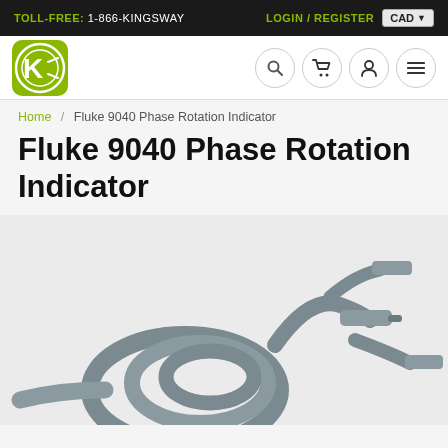TOLL-FREE: 1-866-KINGSWAY   LOGIN / REGISTER   CAD
[Figure (logo): Kingsway company logo: circular green badge with stylized K symbol]
Home / Fluke 9040 Phase Rotation Indicator
Fluke 9040 Phase Rotation Indicator
[Figure (photo): Photo of Fluke 9040 Phase Rotation Indicator showing grey cables coiled on left and probe connectors on the right, on a light grey background]